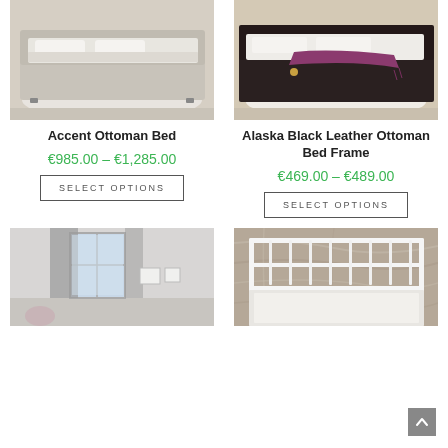[Figure (photo): Photo of Accent Ottoman Bed - light grey upholstered bed with white bedding]
[Figure (photo): Photo of Alaska Black Leather Ottoman Bed Frame - dark leather bed with purple throw]
Accent Ottoman Bed
Alaska Black Leather Ottoman Bed Frame
€985.00 – €1,285.00
€469.00 – €489.00
SELECT OPTIONS
SELECT OPTIONS
[Figure (photo): Photo of a bedroom with grey curtains and window]
[Figure (photo): Photo of a white metal bed frame against a stone/marble wall]